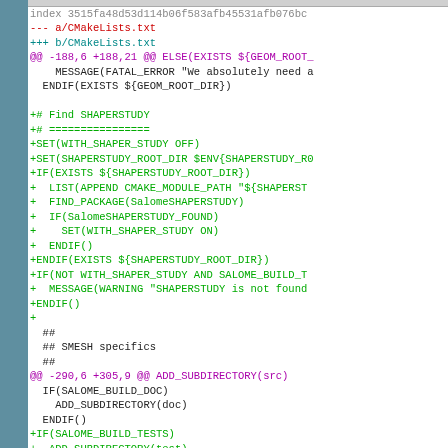[Figure (screenshot): A diff view of CMakeLists.txt showing added lines for SHAPERSTUDY integration. Gray sidebar on the left, code diff on white background. Red lines show removed content, green lines show added content, magenta lines show hunk headers.]